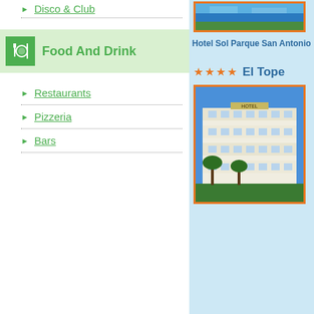Disco & Club
Food And Drink
Restaurants
Pizzeria
Bars
[Figure (photo): Hotel exterior photo top right, orange border]
Hotel Sol Parque San Antonio
★ ★ ★ ★  El Tope
[Figure (photo): Hotel El Tope building exterior photo, orange border]